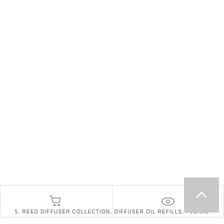[Figure (photo): Large white/blank product image area]
[Figure (screenshot): Two-button action bar: cart icon on left, eye/view icon on right, with a gray scroll-to-top button overlay on the right side]
5. REED DIFFUSER COLLECTION, DIFFUSER OIL REFILLS, FLORAL